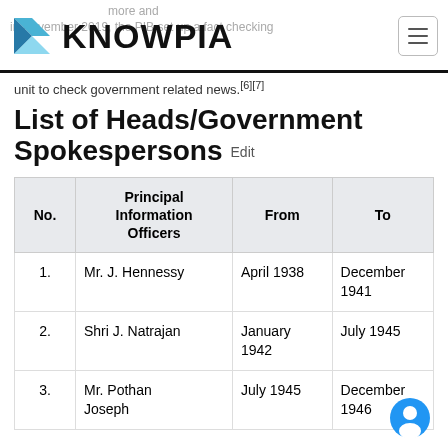KNOWPIA
unit to check government related news.[6][7]
List of Heads/Government Spokespersons Edit
| No. | Principal Information Officers | From | To |
| --- | --- | --- | --- |
| 1. | Mr. J. Hennessy | April 1938 | December 1941 |
| 2. | Shri J. Natrajan | January 1942 | July 1945 |
| 3. | Mr. Pothan Joseph | July 1945 | December 1946 |